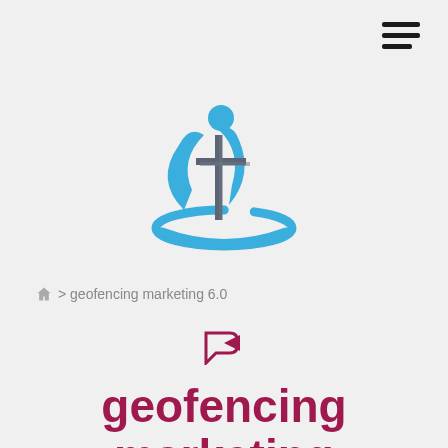[Figure (logo): Church/religious organization logo with a blue figure raising arms, a cross, and a blue elliptical swoosh around the base]
🏠 > geofencing marketing 6.0
geofencing marketing 6.0